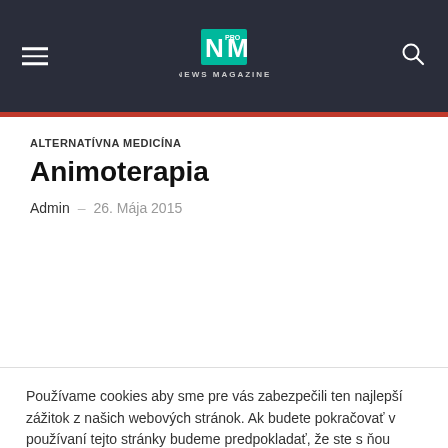NEWS MAGAZINE
ALTERNATÍVNA MEDICÍNA
Animoterapia
Admin – 26. Mája 2015
Používame cookies aby sme pre vás zabezpečili ten najlepší zážitok z našich webových stránok. Ak budete pokračovať v používaní tejto stránky budeme predpokladať, že ste s ňou spokojní.
OK